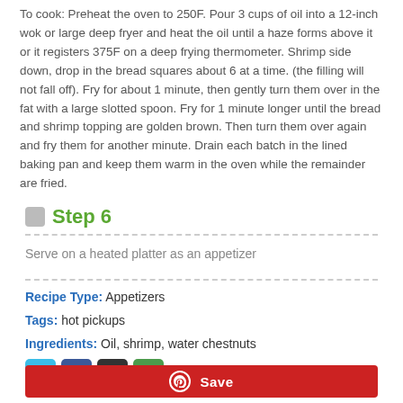To cook: Preheat the oven to 250F. Pour 3 cups of oil into a 12-inch wok or large deep fryer and heat the oil until a haze forms above it or it registers 375F on a deep frying thermometer. Shrimp side down, drop in the bread squares about 6 at a time. (the filling will not fall off). Fry for about 1 minute, then gently turn them over in the fat with a large slotted spoon. Fry for 1 minute longer until the bread and shrimp topping are golden brown. Then turn them over again and fry them for another minute. Drain each batch in the lined baking pan and keep them warm in the oven while the remainder are fried.
Step 6
Serve on a heated platter as an appetizer
Recipe Type: Appetizers
Tags: hot pickups
Ingredients: Oil, shrimp, water chestnuts